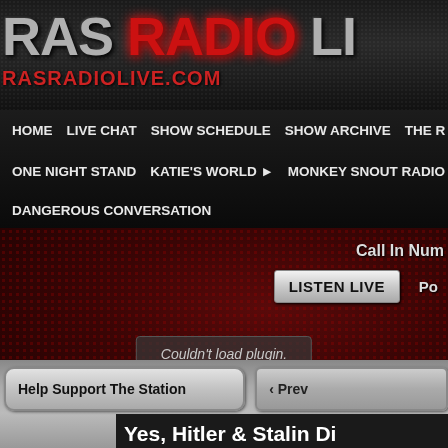[Figure (screenshot): RAS Radio Live website header banner with logo text 'RAS RADIO LI' (truncated) and URL 'RASRADIOLIVE.COM' in red gradient text on dark metallic background]
HOME   LIVE CHAT   SHOW SCHEDULE   SHOW ARCHIVE   THE R
ONE NIGHT STAND   KATIE'S WORLD ▸   MONKEY SNOUT RADIO
DANGEROUS CONVERSATION
Call In Num
Po
LISTEN LIVE
Couldn't load plugin.
Help Support The Station
‹ Prev
Yes, Hitler & Stalin Di